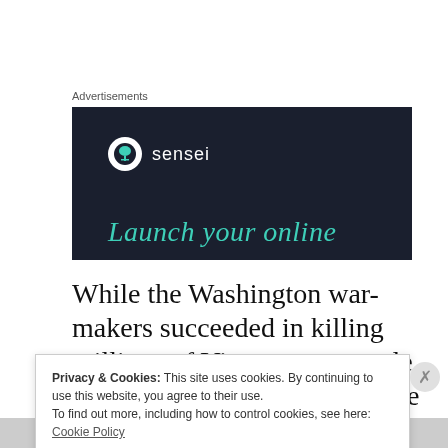Advertisements
[Figure (screenshot): Dark navy advertisement banner for 'sensei' brand with a white circle logo containing a tree/person icon, white 'sensei' text, and teal italic text reading 'Launch your online']
While the Washington war-makers succeeded in killing millions of Vietnamese people and doing incalculable damage to the
Privacy & Cookies: This site uses cookies. By continuing to use this website, you agree to their use.
To find out more, including how to control cookies, see here:
Cookie Policy
Close and accept